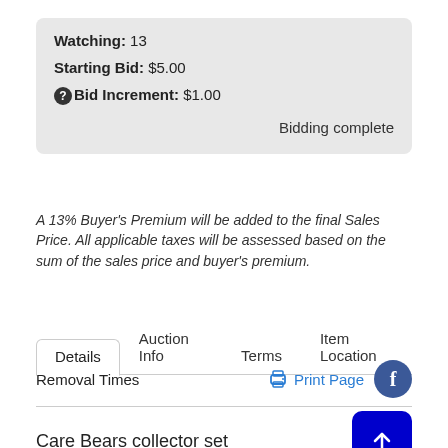Watching: 13
Starting Bid: $5.00
Bid Increment: $1.00
Bidding complete
A 13% Buyer's Premium will be added to the final Sales Price. All applicable taxes will be assessed based on the sum of the sales price and buyer's premium.
Details | Auction Info | Terms | Item Location | Removal Times
Print Page
Care Bears collector set